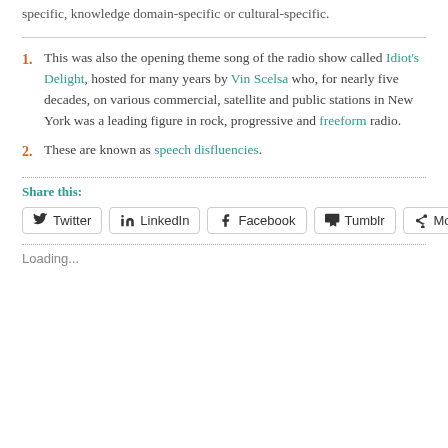specific, knowledge domain-specific or cultural-specific.
1. This was also the opening theme song of the radio show called Idiot's Delight, hosted for many years by Vin Scelsa who, for nearly five decades, on various commercial, satellite and public stations in New York was a leading figure in rock, progressive and freeform radio.
2. These are known as speech disfluencies.
Share this:
Twitter LinkedIn Facebook Tumblr More
Loading...